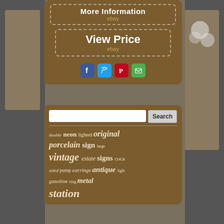[Figure (screenshot): Brown rounded card with 'More Information' button and 'View Price' button, both with dashed borders and 'ebay' subtext, plus social media icons (Facebook, Twitter, Pinterest, Email)]
[Figure (screenshot): Brown rounded card with search bar and word cloud tags: double, neon, lighted, original, porcelain, sign, large, vintage, estate, signs, coca, sided, pump, earrings, antique, light, gasoline, ring, metal, station]